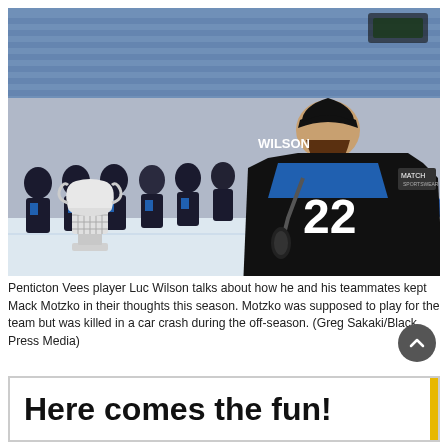[Figure (photo): Hockey player wearing black jersey number 22 (Wilson) speaking into a microphone on an ice rink, holding a trophy cup, with a full team lined up behind him in black and blue jerseys. Blue arena seats visible in background.]
Penticton Vees player Luc Wilson talks about how he and his teammates kept Mack Motzko in their thoughts this season. Motzko was supposed to play for the team but was killed in a car crash during the off-season. (Greg Sakaki/Black Press Media)
Here comes the fun!